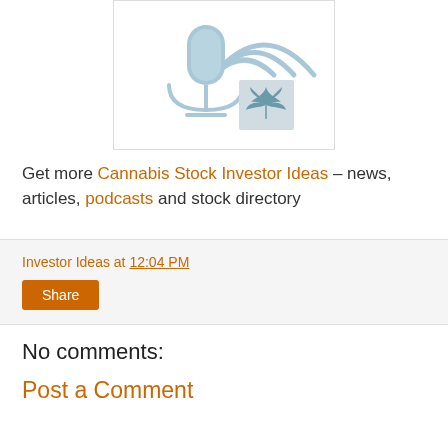[Figure (illustration): A podcast microphone with radio signal waves and a cannabis leaf icon, in light blue/teal tones on white background]
Get more Cannabis Stock Investor Ideas – news, articles, podcasts and stock directory
Investor Ideas at 12:04 PM
Share
No comments:
Post a Comment